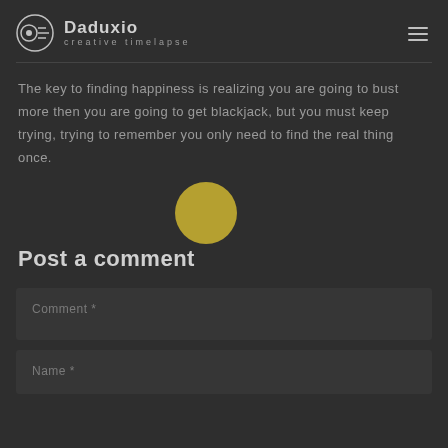Daduxio creative timelapse
The key to finding happiness is realizing you are going to bust more then you are going to get blackjack, but you must keep trying, trying to remember you only need to find the real thing once.
[Figure (illustration): Gold/olive colored filled circle decoration]
Post a comment
Comment *
Name *